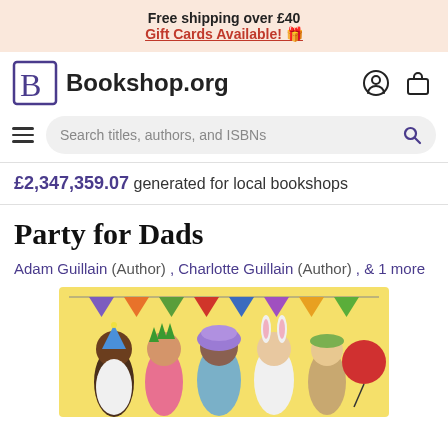Free shipping over £40
Gift Cards Available! 🎁
[Figure (logo): Bookshop.org logo with stylized B and site name, plus user account and shopping bag icons]
Search titles, authors, and ISBNs
£2,347,359.07 generated for local bookshops
Party for Dads
Adam Guillain (Author) , Charlotte Guillain (Author) , & 1 more
[Figure (illustration): Book cover illustration showing five cartoon fathers dressed in party costumes with bunting flags in background, on a yellow background]